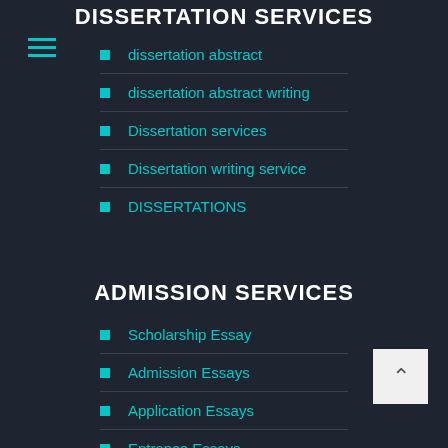DISSERTATION SERVICES
dissertation abstract
dissertation abstract writing
Dissertation services
Dissertation writing service
DISSERTATIONS
ADMISSION SERVICES
Scholarship Essay
Admission Essays
Application Essays
Entrance Essays